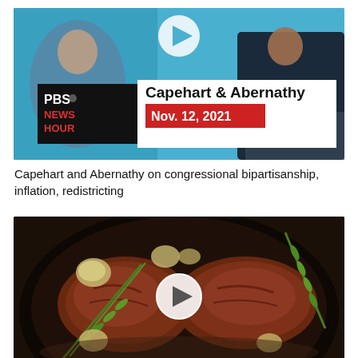[Figure (photo): PBS NewsHour video thumbnail showing two men in suits at a desk. Overlay text reads 'Capehart & Abernathy' with 'PBS NewsHour' logo and 'Nov. 12, 2021' date. A play button icon is visible at top center.]
Capehart and Abernathy on congressional bipartisanship, inflation, redistricting
[Figure (photo): Close-up photo of two seared steaks in a cast iron pan with rosemary sprigs and garlic cloves, with a circular play button overlay in the center.]
Steak Experiments - How Frequently Should you Flip a